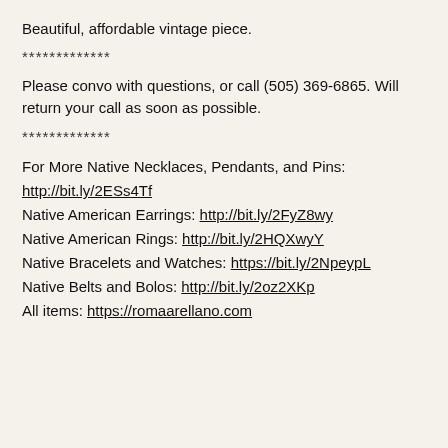Beautiful, affordable vintage piece.
*************
Please convo with questions, or call (505) 369-6865. Will return your call as soon as possible.
*************
For More Native Necklaces, Pendants, and Pins: http://bit.ly/2ESs4Tf
Native American Earrings: http://bit.ly/2FyZ8wy
Native American Rings: http://bit.ly/2HQXwyY
Native Bracelets and Watches: https://bit.ly/2NpeypL
Native Belts and Bolos: http://bit.ly/2oz2XKp
All items: https://romaarellano.com